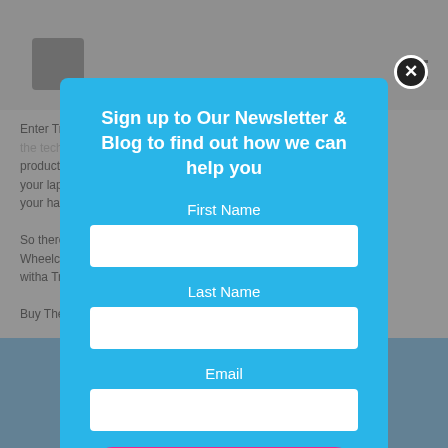[Figure (screenshot): Newsletter signup modal overlay on a website. The modal has a light blue background with white text title 'Sign up to Our Newsletter & Blog to find out how we can help you', form fields for First Name, Last Name, and Email, and a pink Send button. A close (X) button is in the top right corner of the modal.]
Sign up to Our Newsletter & Blog to find out how we can help you
First Name
Last Name
Email
Send